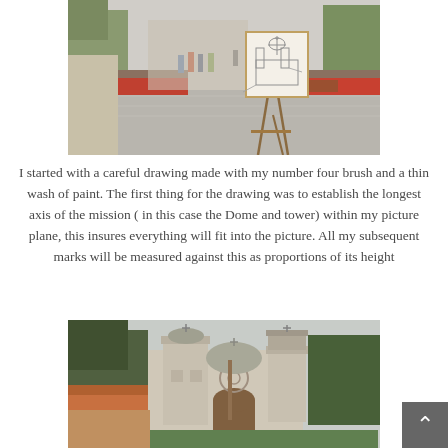[Figure (photo): Outdoor courtyard scene with an artist's easel holding a sketch of a mission building. People visible in the background, garden plantings on either side, stone/brick paved area.]
I started with a careful drawing made with my number four brush and a thin wash of paint. The first thing for the drawing was to establish the longest axis of the mission ( in this case the Dome and tower) within my picture plane, this insures everything will fit into the picture. All my subsequent marks will be measured against this as proportions of its height
[Figure (photo): Photograph of Carmel Mission (Mission San Carlos Borromeo) showing the stone facade with dome, bell towers, and surrounding trees and tile-roofed buildings.]